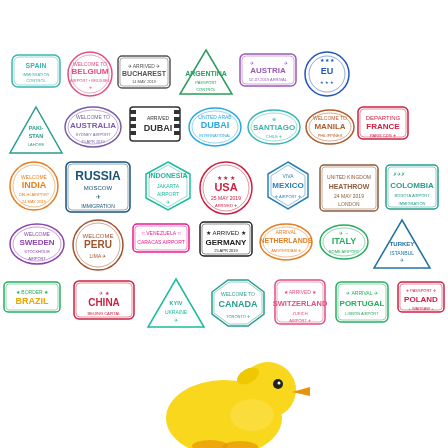[Figure (illustration): Collection of colorful passport stamps from various countries including Spain, Belgium, Romania (Bucharest), Argentina, Austria, EU, Pakistan, Australia, Dubai, Santiago, Manila, France, India, Russia, Indonesia, USA, Mexico, UK Heathrow, Colombia, Sweden, Peru, Venezuela, Germany, Netherlands, Italy, Greece/Turkey, Brazil, China, Ukraine (Kyiv), Canada, Switzerland, Portugal, Poland. Below the stamps is a cartoon yellow rubber duck illustration.]